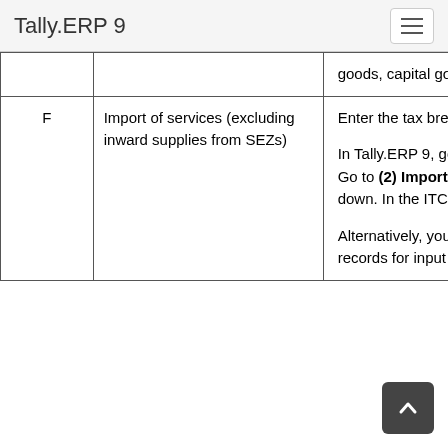Tally.ERP 9
|  | Description | Details |
| --- | --- | --- |
|  |  | goods, capital goods and services. |
| F | Import of services (excluding inward supplies from SEZs) | Enter the tax break-up of ITC availed for import of services

In Tally.ERP 9, go to GSTR 3B report and click F1: Detailed. Go to (2) Import of Services under 4 Eligible ITC and drill down. In the ITC columns, get Integrated tax and Cess values.

Alternatively, you will get this value if you have maintained records for input tax credit details for goods, capital goods and |